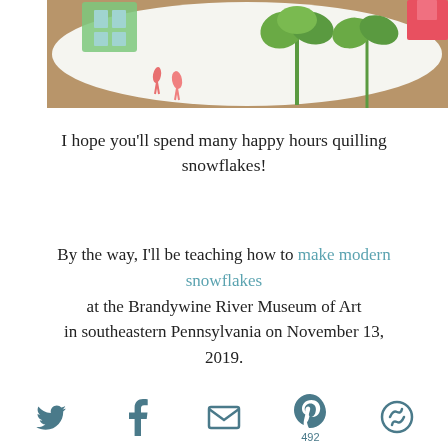[Figure (photo): Partial view of a decorative item with tropical pattern featuring palm trees, flamingos, and colorful design elements on a wooden surface background]
I hope you'll spend many happy hours quilling snowflakes!
By the way, I'll be teaching how to make modern snowflakes at the Brandywine River Museum of Art in southeastern Pennsylvania on November 13, 2019.
[Figure (infographic): Social sharing icons bar: Twitter bird icon, Facebook f icon, Email envelope icon, Pinterest P icon with count 492, and a circular share icon]